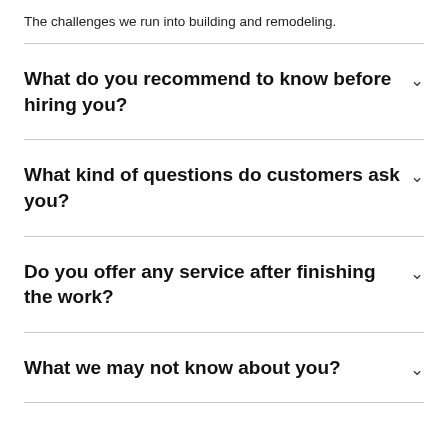The challenges we run into building and remodeling.
What do you recommend to know before hiring you?
What kind of questions do customers ask you?
Do you offer any service after finishing the work?
What we may not know about you?